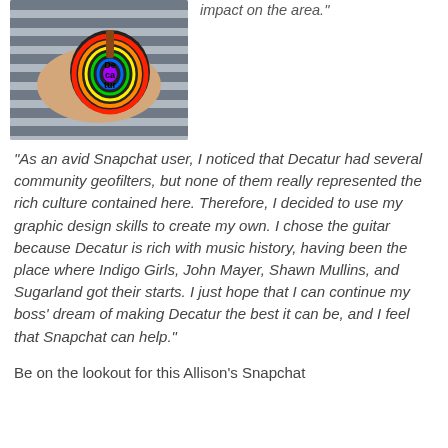[Figure (photo): Person wearing striped shirt holding a colorful guitar-shaped Snapchat geofilter sticker with 'Decatur' text in rainbow colors]
“impact on the area.”
“As an avid Snapchat user, I noticed that Decatur had several community geofilters, but none of them really represented the rich culture contained here. Therefore, I decided to use my graphic design skills to create my own. I chose the guitar because Decatur is rich with music history, having been the place where Indigo Girls, John Mayer, Shawn Mullins, and Sugarland got their starts. I just hope that I can continue my boss’ dream of making Decatur the best it can be, and I feel that Snapchat can help.”
Be on the lookout for this Allison’s Snapchat